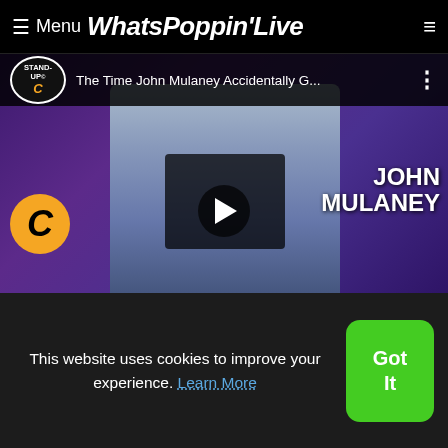Menu WhatsPoppinLive
[Figure (screenshot): YouTube video thumbnail: 'The Time John Mulaney Accidentally G...' from Stand-Up Comedy Central channel, showing John Mulaney in a suit at a microphone on a purple-lit stage. A play button is visible in the center. 'JOHN MULANEY' text appears on the right side.]
[Figure (screenshot): Video thumbnail showing a character in a green mask (The Mask) with finger to lips, wearing a red jacket, against a brown/orange background.]
This website uses cookies to improve your experience. Learn More
Got It